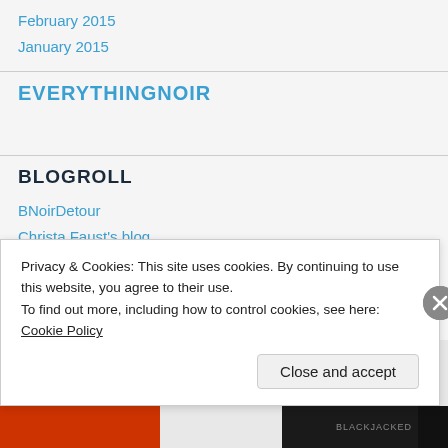February 2015
January 2015
EVERYTHINGNOIR
BLOGROLL
BNoirDetour
Christa Faust's blog
Film Noir Blonde
hardboiled wonderland
Journeys in Darkness and Light
Privacy & Cookies: This site uses cookies. By continuing to use this website, you agree to their use.
To find out more, including how to control cookies, see here: Cookie Policy
Close and accept